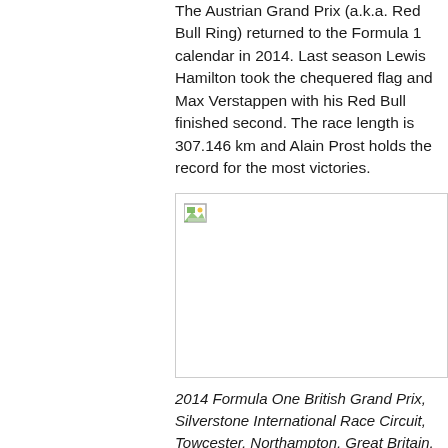The Austrian Grand Prix (a.k.a. Red Bull Ring) returned to the Formula 1 calendar in 2014. Last season Lewis Hamilton took the chequered flag and Max Verstappen with his Red Bull finished second. The race length is 307.146 km and Alain Prost holds the record for the most victories.
[Figure (photo): A broken/missing image placeholder with a small image icon in the top-left corner, bordered with a light gray outline.]
2014 Formula One British Grand Prix, Silverstone International Race Circuit, Towcester, Northampton, Great Britain, 3rd